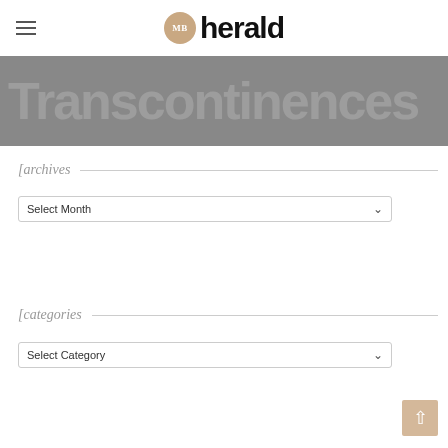MB herald
[Figure (photo): Dark grey banner image with large semi-transparent text overlay, partially visible]
[archives
Select Month
[categories
Select Category